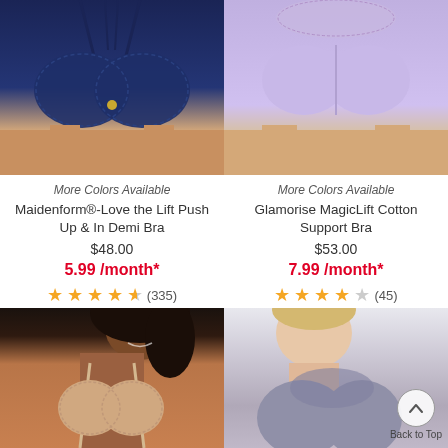[Figure (photo): Dark navy blue lace push-up bra on model torso, upper half cropped]
[Figure (photo): Lavender/purple cotton support bra on model torso, upper half cropped]
More Colors Available
Maidenform®-Love the Lift Push Up & In Demi Bra
$48.00
5.99 /month*
(335)
More Colors Available
Glamorise MagicLift Cotton Support Bra
$53.00
7.99 /month*
(45)
[Figure (photo): Beige/nude lace bra on smiling dark-skinned model, bottom portion of page]
[Figure (photo): Gray lace bra on blonde model, bottom portion of page, with Back to Top button overlay]